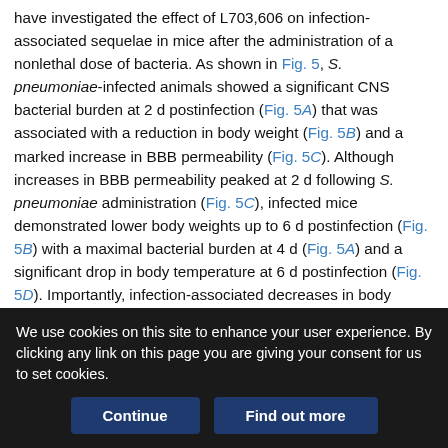have investigated the effect of L703,606 on infection-associated sequelae in mice after the administration of a nonlethal dose of bacteria. As shown in Fig. 5, S. pneumoniae-infected animals showed a significant CNS bacterial burden at 2 d postinfection (Fig. 5A) that was associated with a reduction in body weight (Fig. 5B) and a marked increase in BBB permeability (Fig. 5C). Although increases in BBB permeability peaked at 2 d following S. pneumoniae administration (Fig. 5C), infected mice demonstrated lower body weights up to 6 d postinfection (Fig. 5B) with a maximal bacterial burden at 4 d (Fig. 5A) and a significant drop in body temperature at 6 d postinfection (Fig. 5D). Importantly, infection-associated decreases in body temperature were abolished in mice that began receiving L703,606 at 3 d
We use cookies on this site to enhance your user experience. By clicking any link on this page you are giving your consent for us to set cookies.